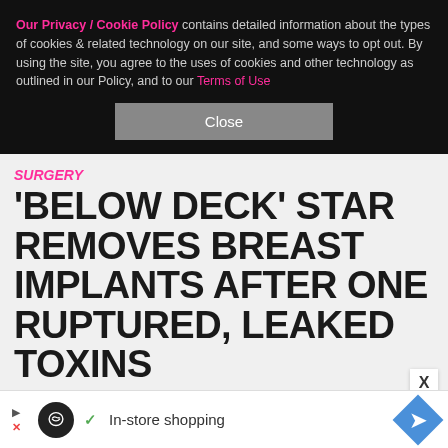Our Privacy / Cookie Policy contains detailed information about the types of cookies & related technology on our site, and some ways to opt out. By using the site, you agree to the uses of cookies and other technology as outlined in our Policy, and to our Terms of Use
Close
SURGERY
'BELOW DECK' STAR REMOVES BREAST IMPLANTS AFTER ONE RUPTURED, LEAKED TOXINS
By Mark Gray • Wonderwall •
11:38am PDT, Aug 25, 2022
A "Below Deck" star...
[Figure (other): Advertisement bar at bottom showing in-store shopping ad with circular logo, checkmark, text 'In-store shopping', and blue diamond navigation icon]